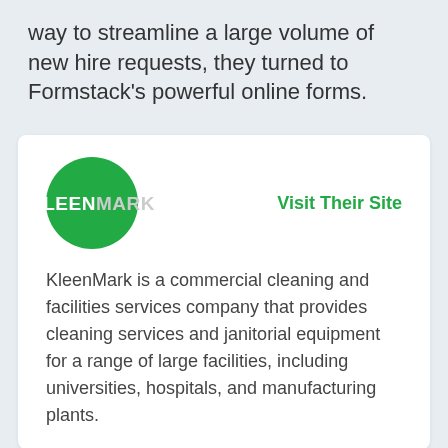way to streamline a large volume of new hire requests, they turned to Formstack's powerful online forms.
[Figure (logo): KleenMark logo: green circle with white KLEEN text and grey MARK text]
Visit Their Site
KleenMark is a commercial cleaning and facilities services company that provides cleaning services and janitorial equipment for a range of large facilities, including universities, hospitals, and manufacturing plants.